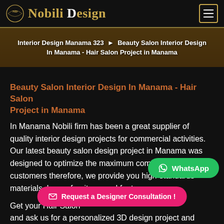Nobili Design
Interior Design Manama 323 ▶ Beauty Salon Interior Design In Manama - Hair Salon Project in Manama
Beauty Salon Interior Design In Manama - Hair Salon Project in Manama
In Manama Nobili firm has been a great supplier of quality interior design projects for commercial activities. Our latest beauty salon design project in Manama was designed to optimize the maximum comfort for the customers therefore, we provide you high-standards materials, luxury furniture, and features.
Get your Hair Salon and ask us for a personalized 3D design project and
[Figure (screenshot): WhatsApp floating button (green rounded button)]
[Figure (screenshot): Request a Designer Consultation! floating button (pink/red rounded button)]